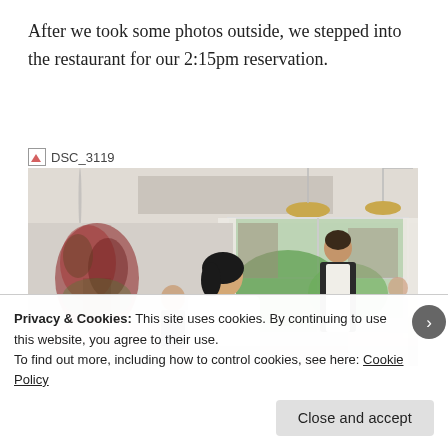After we took some photos outside, we stepped into the restaurant for our 2:15pm reservation.
[Figure (photo): Interior of an upscale restaurant with white walls, large windows with views of green trees and urban buildings, gold pendant lights, white-draped tables, and diners seated. A woman in a white top is seated in the foreground, and a server in a dark vest stands near the window. Floral arrangement visible on left side.]
Privacy & Cookies: This site uses cookies. By continuing to use this website, you agree to their use.
To find out more, including how to control cookies, see here: Cookie Policy